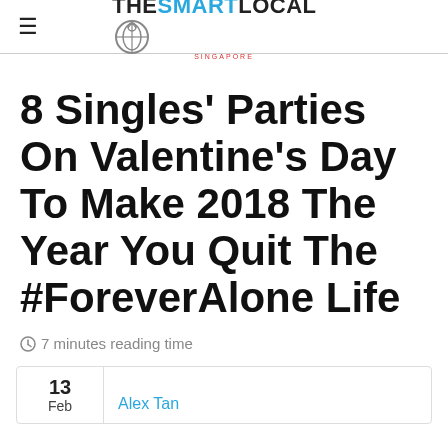≡ THESMARTLOCAL SINGAPORE
8 Singles' Parties On Valentine's Day To Make 2018 The Year You Quit The #ForeverAlone Life
7 minutes reading time
13
Feb
Alex Tan